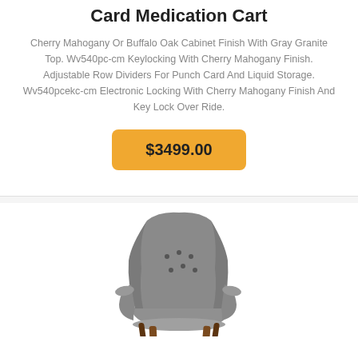Card Medication Cart
Cherry Mahogany Or Buffalo Oak Cabinet Finish With Gray Granite Top. Wv540pc-cm Keylocking With Cherry Mahogany Finish. Adjustable Row Dividers For Punch Card And Liquid Storage. Wv540pcekc-cm Electronic Locking With Cherry Mahogany Finish And Key Lock Over Ride.
$3499.00
[Figure (photo): Gray upholstered wingback accent chair with tufted back and wooden legs, shown at an angle]